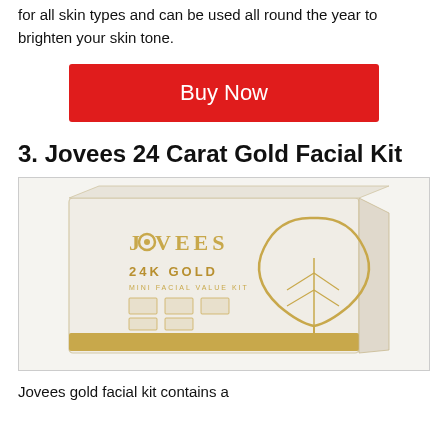for all skin types and can be used all round the year to brighten your skin tone.
Buy Now
3. Jovees 24 Carat Gold Facial Kit
[Figure (photo): Jovees 24 Carat Gold Mini Facial Value Kit packaging — a white rectangular box with gold lettering reading JOVEES and 24K GOLD MINI FACIAL VALUE KIT, with a gold leaf/teardrop logo on the right side.]
Jovees gold facial kit contains a